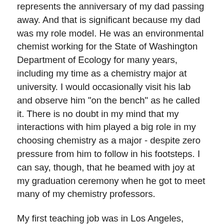represents the anniversary of my dad passing away. And that is significant because my dad was my role model. He was an environmental chemist working for the State of Washington Department of Ecology for many years, including my time as a chemistry major at university. I would occasionally visit his lab and observe him "on the bench" as he called it. There is no doubt in my mind that my interactions with him played a big role in my choosing chemistry as a major - despite zero pressure from him to follow in his footsteps. I can say, though, that he beamed with joy at my graduation ceremony when he got to meet many of my chemistry professors.
My first teaching job was in Los Angeles, California. As a young teacher, I was full of enthusiasm and energy - but I lacked the nuanced style of the veteran teachers around me. Each day was a new experience full of challenges; I loved every minute of my time in front of the classroom.